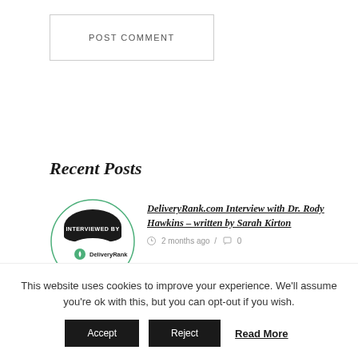POST COMMENT
Recent Posts
[Figure (logo): Circular badge with 'INTERVIEWED BY' text in white on dark background, with DeliveryRank logo below on white circular background, outlined with a thin green circle border.]
DeliveryRank.com Interview with Dr. Rody Hawkins – written by Sarah Kirton
2 months ago / 0
[Figure (photo): Partial view of a food/drink related photograph, partially cut off at the bottom of the visible area.]
This website uses cookies to improve your experience. We'll assume you're ok with this, but you can opt-out if you wish.
Accept   Reject   Read More